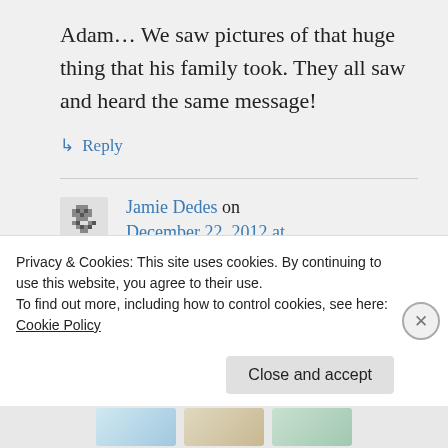Adam… We saw pictures of that huge thing that his family took. They all saw and heard the same message!
↳ Reply
Jamie Dedes on December 22, 2012 at 11:12 pm
Privacy & Cookies: This site uses cookies. By continuing to use this website, you agree to their use.
To find out more, including how to control cookies, see here: Cookie Policy